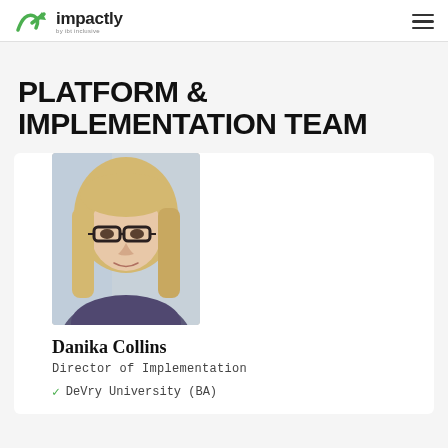impactly by ibt inclusive
PLATFORM & IMPLEMENTATION TEAM
[Figure (photo): Headshot photo of Danika Collins, a woman with blonde hair and dark-rimmed glasses, wearing a patterned top, photographed indoors.]
Danika Collins
Director of Implementation
DeVry University (BA)